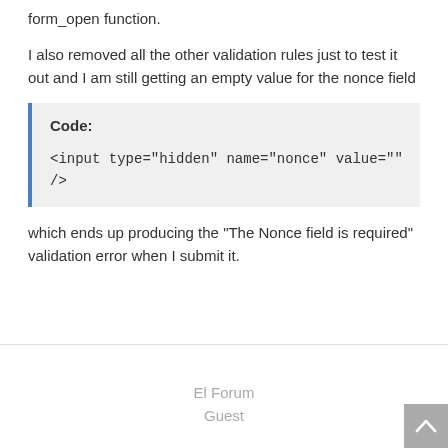form_open function.
I also removed all the other validation rules just to test it out and I am still getting an empty value for the nonce field
Code:
&lt;input type="hidden" name="nonce" value="" /&gt;
which ends up producing the "The Nonce field is required" validation error when I submit it.
El Forum
Guest